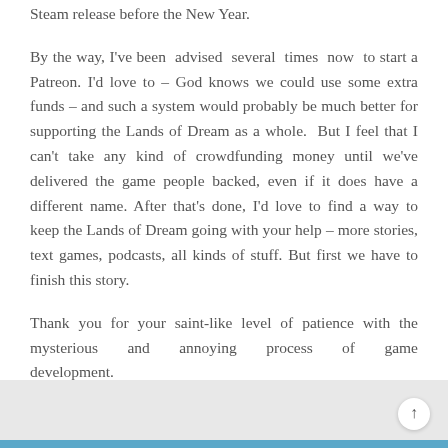Steam release before the New Year.
By the way, I've been advised several times now to start a Patreon. I'd love to – God knows we could use some extra funds – and such a system would probably be much better for supporting the Lands of Dream as a whole. But I feel that I can't take any kind of crowdfunding money until we've delivered the game people backed, even if it does have a different name. After that's done, I'd love to find a way to keep the Lands of Dream going with your help – more stories, text games, podcasts, all kinds of stuff. But first we have to finish this story.
Thank you for your saint-like level of patience with the mysterious and annoying process of game development.